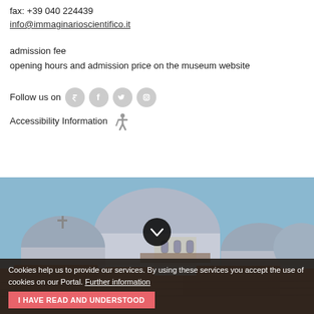fax: +39 040 224439
info@immaginarioscientifico.it
admission fee
opening hours and admission price on the museum website
Follow us on
Accessibility Information
[Figure (photo): Aerial view of domed buildings with terracotta rooftops and blue sky, Trieste cityscape]
Cookies help us to provide our services. By using these services you accept the use of cookies on our Portal. Further information
I HAVE READ AND UNDERSTOOD